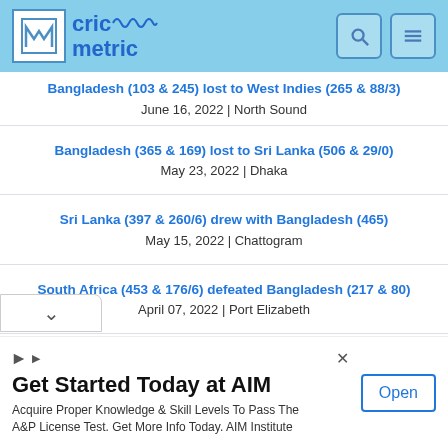cricmetric
Bangladesh (103 & 245) lost to West Indies (265 & 88/3)
June 16, 2022 | North Sound
Bangladesh (365 & 169) lost to Sri Lanka (506 & 29/0)
May 23, 2022 | Dhaka
Sri Lanka (397 & 260/6) drew with Bangladesh (465)
May 15, 2022 | Chattogram
South Africa (453 & 176/6) defeated Bangladesh (217 & 80)
April 07, 2022 | Port Elizabeth
[Figure (other): Advertisement banner: Get Started Today at AIM. Acquire Proper Knowledge & Skill levels To Pass The A&P License Test. Get More Info Today. AIM Institute. Open button.]